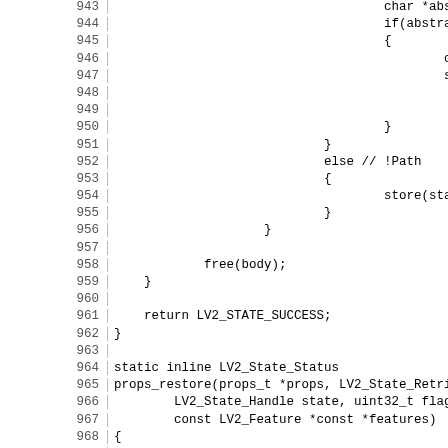Source code listing, lines 943–972, showing C code for props_restore function and related logic.